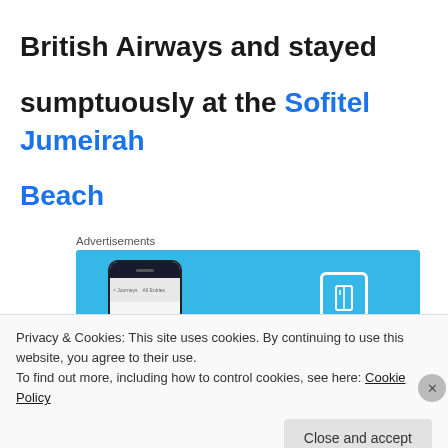British Airways and stayed sumptuously at the Sofitel Jumeirah Beach
[Figure (screenshot): Advertisement banner with sky-blue background showing a smartphone mockup and a book icon on the right side]
Privacy & Cookies: This site uses cookies. By continuing to use this website, you agree to their use.
To find out more, including how to control cookies, see here: Cookie Policy
Close and accept